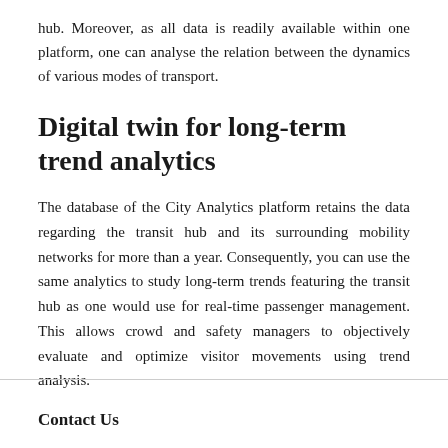hub. Moreover, as all data is readily available within one platform, one can analyse the relation between the dynamics of various modes of transport.
Digital twin for long-term trend analytics
The database of the City Analytics platform retains the data regarding the transit hub and its surrounding mobility networks for more than a year. Consequently, you can use the same analytics to study long-term trends featuring the transit hub as one would use for real-time passenger management. This allows crowd and safety managers to objectively evaluate and optimize visitor movements using trend analysis.
Contact Us